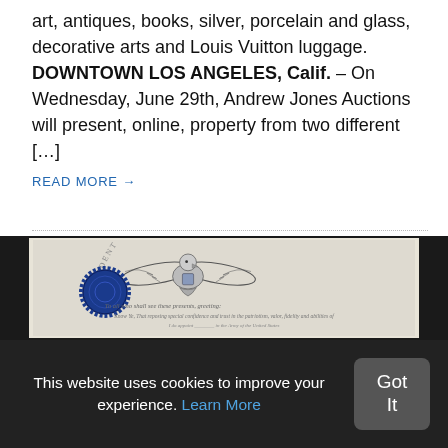art, antiques, books, silver, porcelain and glass, decorative arts and Louis Vuitton luggage. DOWNTOWN LOS ANGELES, Calif. – On Wednesday, June 29th, Andrew Jones Auctions will present, online, property from two different […]
READ MORE →
[Figure (photo): A framed presidential document/certificate with an eagle engraving and blue wax seal, with cursive text below. Dark frame around document.]
This website uses cookies to improve your experience. Learn More
Got It